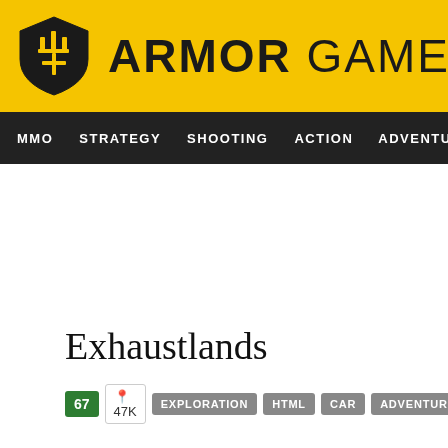ARMOR GAMES
MMO  STRATEGY  SHOOTING  ACTION  ADVENTURE  P
Exhaustlands
67  📍 47K  EXPLORATION  HTML  CAR  ADVENTURE  GAME JAMS